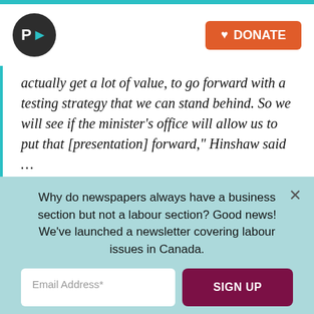P> | DONATE
actually get a lot of value, to go forward with a testing strategy that we can stand behind. So we will see if the minister's office will allow us to put that [presentation] forward," Hinshaw said …
A week later, Hinshaw publicly announced the province had opened up asymptomatic testing to any Albertan who wanted it. At a news conference, she said that given the impending
Why do newspapers always have a business section but not a labour section? Good news! We've launched a newsletter covering labour issues in Canada.
Email Address*
SIGN UP